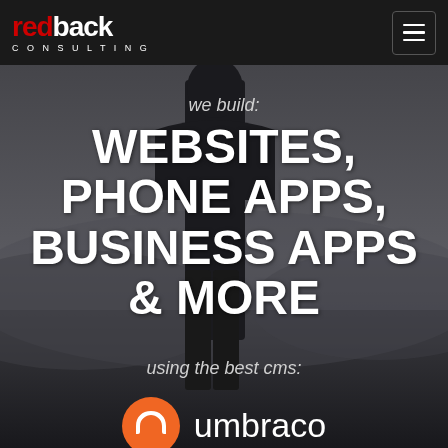[Figure (screenshot): Dark background hero image with silhouette of a person standing, misty landscape background]
redback CONSULTING — hamburger menu icon
we build:
WEBSITES, PHONE APPS, BUSINESS APPS & MORE
using the best cms:
[Figure (logo): Umbraco logo: orange circle with white U shape, followed by text 'umbraco']